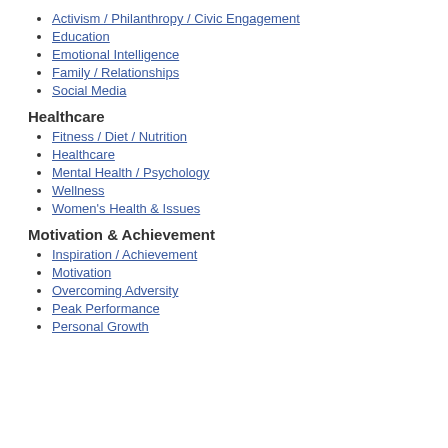Activism / Philanthropy / Civic Engagement
Education
Emotional Intelligence
Family / Relationships
Social Media
Healthcare
Fitness / Diet / Nutrition
Healthcare
Mental Health / Psychology
Wellness
Women's Health & Issues
Motivation & Achievement
Inspiration / Achievement
Motivation
Overcoming Adversity
Peak Performance
Personal Growth